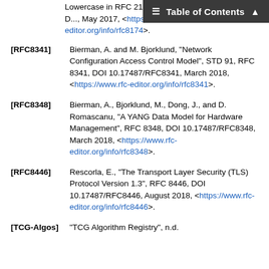Lowercase in RFC 2119 and BCP 14, RFC 8174, DOI ..., May 2017, <https://www.rfc-editor.org/info/rfc8174>.
[RFC8341] Bierman, A. and M. Bjorklund, "Network Configuration Access Control Model", STD 91, RFC 8341, DOI 10.17487/RFC8341, March 2018, <https://www.rfc-editor.org/info/rfc8341>.
[RFC8348] Bierman, A., Bjorklund, M., Dong, J., and D. Romascanu, "A YANG Data Model for Hardware Management", RFC 8348, DOI 10.17487/RFC8348, March 2018, <https://www.rfc-editor.org/info/rfc8348>.
[RFC8446] Rescorla, E., "The Transport Layer Security (TLS) Protocol Version 1.3", RFC 8446, DOI 10.17487/RFC8446, August 2018, <https://www.rfc-editor.org/info/rfc8446>.
[TCG-Algos] "TCG Algorithm Registry", n.d.